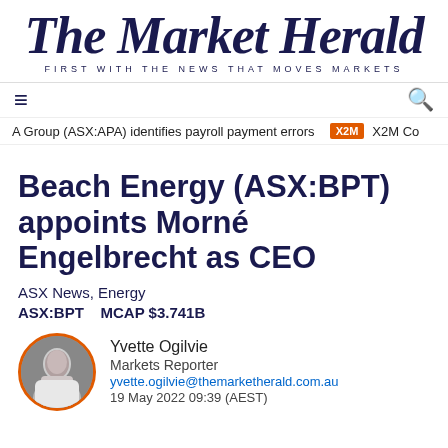The Market Herald
FIRST WITH THE NEWS THAT MOVES MARKETS
A Group (ASX:APA) identifies payroll payment errors   X2M   X2M Co
Beach Energy (ASX:BPT) appoints Morné Engelbrecht as CEO
ASX News, Energy
ASX:BPT    MCAP $3.741B
[Figure (photo): Circular portrait photo of Yvette Ogilvie, Markets Reporter, with orange border]
Yvette Ogilvie
Markets Reporter
yvette.ogilvie@themarketherald.com.au
19 May 2022 09:39 (AEST)